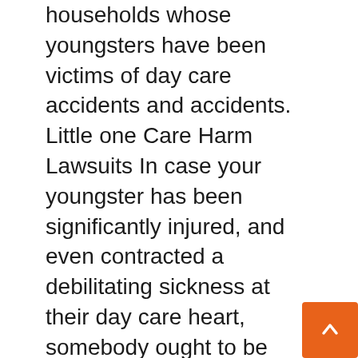households whose youngsters have been victims of day care accidents and accidents. Little one Care Harm Lawsuits In case your youngster has been significantly injured, and even contracted a debilitating sickness at their day care heart, somebody ought to be held accountable for his or her losses, like struggling and medical payments. If that is your scenario, it’s time to seek the advice of a licensed private damage lawyer to study your rights. Sadly, there are a number of circumstances of kid care deaths, disabilities, diseases, and severe accidents. In a lot of these circumstances, it was the fault of the childcare supplier. They’re in control of supervising and caring on your youngster. In case your youngster is significantly injured whereas